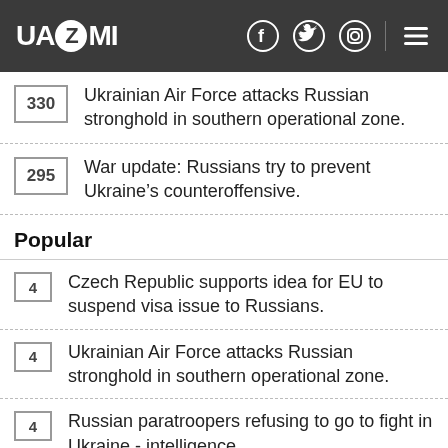UAZMI
330 Ukrainian Air Force attacks Russian stronghold in southern operational zone.
295 War update: Russians try to prevent Ukraine’s counteroffensive.
Popular
4 Czech Republic supports idea for EU to suspend visa issue to Russians.
4 Ukrainian Air Force attacks Russian stronghold in southern operational zone.
4 Russian paratroopers refusing to go to fight in Ukraine - intelligence.